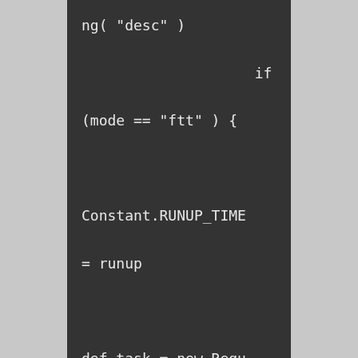ng( "desc" )

                    if

(mode == "ftt" ) {



Constant.RUNUP_TIME

= runup



def task = new RequestThreadTimes(request, times)